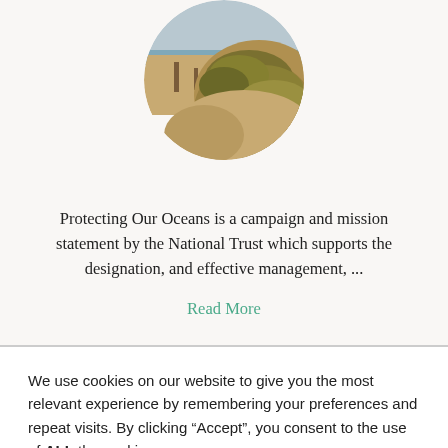[Figure (photo): Circular cropped photo of a coastal beach scene with sand dunes and grass, partially visible at the top of the page.]
Protecting Our Oceans is a campaign and mission statement by the National Trust which supports the designation, and effective management, ...
Read More
We use cookies on our website to give you the most relevant experience by remembering your preferences and repeat visits. By clicking “Accept”, you consent to the use of ALL the cookies.
Cookie settings
ACCEPT